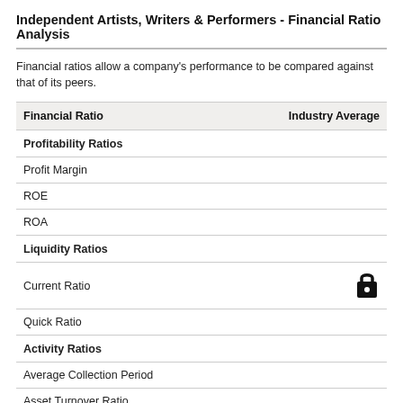Independent Artists, Writers & Performers - Financial Ratio Analysis
Financial ratios allow a company's performance to be compared against that of its peers.
| Financial Ratio | Industry Average |
| --- | --- |
| Profitability Ratios |  |
| Profit Margin |  |
| ROE |  |
| ROA |  |
| Liquidity Ratios |  |
| Current Ratio | 🔒 |
| Quick Ratio |  |
| Activity Ratios |  |
| Average Collection Period |  |
| Asset Turnover Ratio |  |
| Receivables Turnover Ratio |  |
| Inventory Conversion Ratio |  |